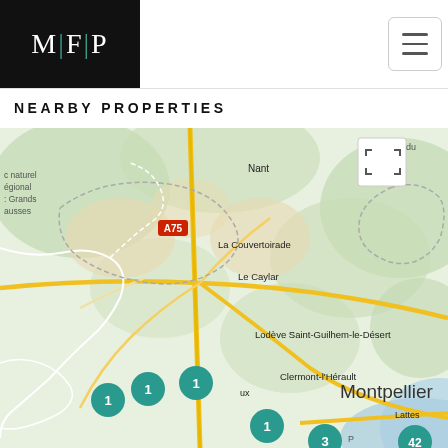[Figure (logo): MFP logo: white letters M|F|P on black background, with teal vertical separators]
[Figure (map): Google Maps style map centered on Hérault region of southern France showing towns: Nant, Le Vigan, Ganges, Saint-Bauzille-de-Putois, La Couvertoirade, Le Caylar, Lodève, Saint-Guilhem-le-Désert, Clermont-l'Hérault, Montpellier, Lattes, and highway markers A75, A9. Parc naturel régional des Grands Causses label visible. Multiple teal property count markers: four '1' markers, one '3' marker, one '42' marker.]
NEARBY PROPERTIES